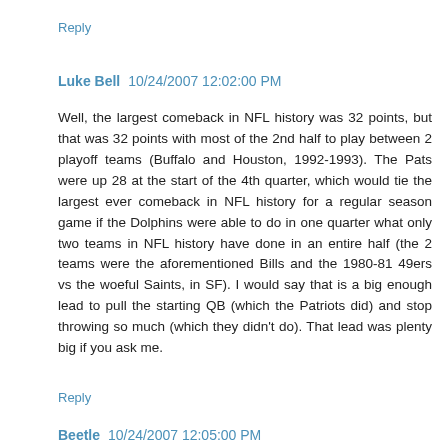Reply
Luke Bell  10/24/2007 12:02:00 PM
Well, the largest comeback in NFL history was 32 points, but that was 32 points with most of the 2nd half to play between 2 playoff teams (Buffalo and Houston, 1992-1993). The Pats were up 28 at the start of the 4th quarter, which would tie the largest ever comeback in NFL history for a regular season game if the Dolphins were able to do in one quarter what only two teams in NFL history have done in an entire half (the 2 teams were the aforementioned Bills and the 1980-81 49ers vs the woeful Saints, in SF). I would say that is a big enough lead to pull the starting QB (which the Patriots did) and stop throwing so much (which they didn't do). That lead was plenty big if you ask me.
Reply
Beetle  10/24/2007 12:05:00 PM